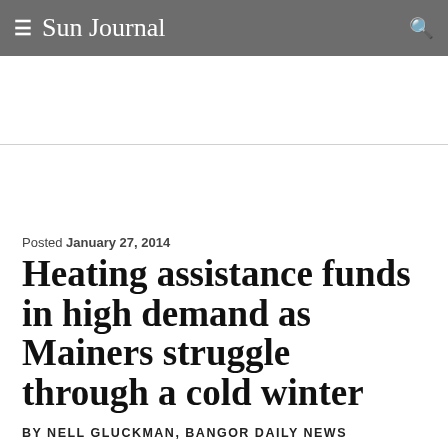Sun Journal
Posted January 27, 2014
Heating assistance funds in high demand as Mainers struggle through a cold winter
BY NELL GLUCKMAN, BANGOR DAILY NEWS
[Figure (other): Advertisement banner for Sun Journal 175 years with logo and sun rays graphic]